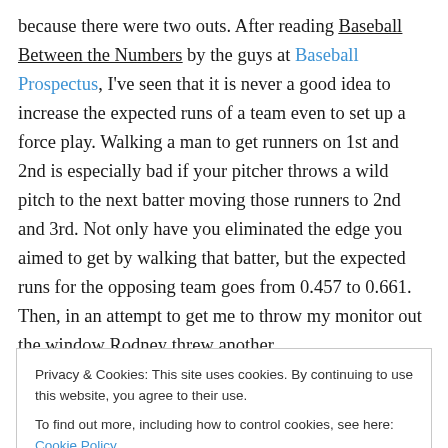because there were two outs. After reading Baseball Between the Numbers by the guys at Baseball Prospectus, I've seen that it is never a good idea to increase the expected runs of a team even to set up a force play. Walking a man to get runners on 1st and 2nd is especially bad if your pitcher throws a wild pitch to the next batter moving those runners to 2nd and 3rd. Not only have you eliminated the edge you aimed to get by walking that batter, but the expected runs for the opposing team goes from 0.457 to 0.661. Then, in an attempt to get me to throw my monitor out the window Rodney threw another
Privacy & Cookies: This site uses cookies. By continuing to use this website, you agree to their use. To find out more, including how to control cookies, see here: Cookie Policy
into a two the Tigers were still classed for their third